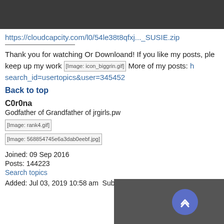https://cloudcapcity.com/l0/54le38t8qfxj..._SUSIE.zip
Thank you for watching Or Downloand! If you like my posts, ple keep up my work [Image: icon_biggrin.gif] More of my posts: search_id=usertopics&user=345452
Back to top
C0r0na
Godfather of Grandfather of jrgirls.pw
[Figure (other): [Image: rank4.gif]]
[Figure (other): [Image: 568854745e6a3dab0eebf.jpg]]
Joined: 09 Sep 2016
Posts: 144223
Search topics
Added: Jul 03, 2019 10:58 am  Subject: 2016 07 27 SIREN LLENU